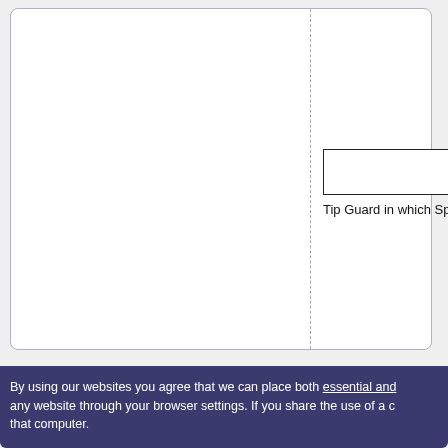[Figure (screenshot): White card panel with a vertical dashed divider line. On the right side of the divider there is a rectangular outlined box and text reading 'Tip Guard in which Sp']
Tip Guard in which Sp
By using our websites you agree that we can place both essential and any website through your browser settings. If you share the use of a c that computer.